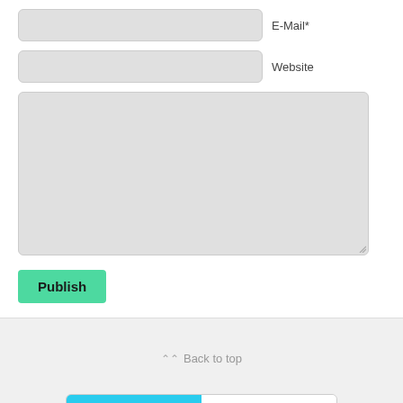E-Mail*
Website
Publish
Back to top
Mobile
Desktop